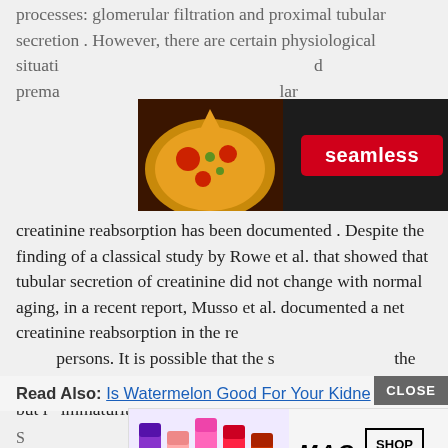processes: glomerular filtration and proximal tubular secretion . However, there are certain physiological situations [ad obscured] and premature [ad obscured] tubular creatinine reabsorption has been documented . Despite the finding of a classical study by Rowe et al. that showed that tubular secretion of creatinine did not change with normal aging, in a recent report, Musso et al. documented a net creatinine reabsorption in the re[video obscured] of healthy older persons. It is possible that the s[video obscured] the aged tubules more susceptib[video obscured] as it happens in newborns, but i[video obscured] immaturity . This creatinine reab[video obscured] secretion one in the setting of severe chronic renal disease .
[Figure (other): Seamless food delivery advertisement banner with pizza image, red 'seamless' label, and 'ORDER NOW' button on dark background]
[Figure (other): Black video overlay player covering portion of the article text]
Read Also: Is Watermelon Good For Your Kidney [CLOSE button]
[Figure (other): MAC cosmetics advertisement banner with lipstick products and 'SHOP NOW' button]
S... [page cut off at bottom]